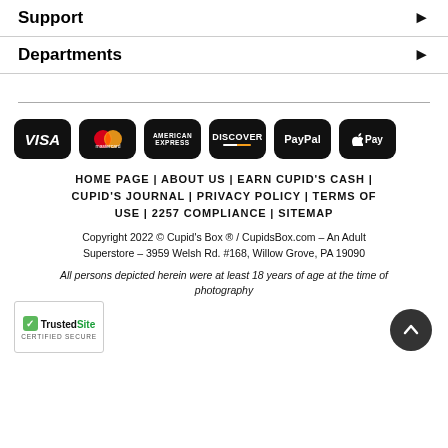Support
Departments
[Figure (other): Payment method icons: VISA, Mastercard, American Express, Discover, PayPal, Apple Pay on black rounded rectangle backgrounds]
HOME PAGE | ABOUT US | EARN CUPID'S CASH | CUPID'S JOURNAL | PRIVACY POLICY | TERMS OF USE | 2257 COMPLIANCE | SITEMAP
Copyright 2022 © Cupid's Box ® / CupidsBox.com – An Adult Superstore – 3959 Welsh Rd. #168, Willow Grove, PA 19090
All persons depicted herein were at least 18 years of age at the time of photography
[Figure (logo): TrustedSite Certified Secure badge]
[Figure (other): Scroll to top button - dark circle with upward arrow]